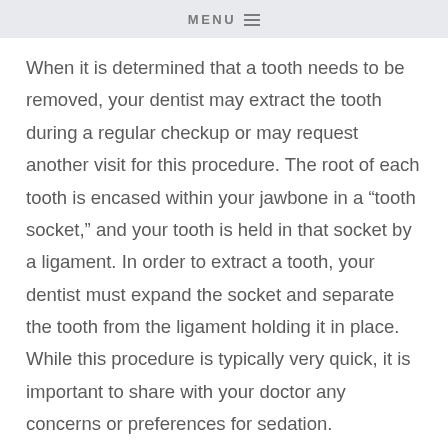MENU
When it is determined that a tooth needs to be removed, your dentist may extract the tooth during a regular checkup or may request another visit for this procedure. The root of each tooth is encased within your jawbone in a “tooth socket,” and your tooth is held in that socket by a ligament. In order to extract a tooth, your dentist must expand the socket and separate the tooth from the ligament holding it in place. While this procedure is typically very quick, it is important to share with your doctor any concerns or preferences for sedation.